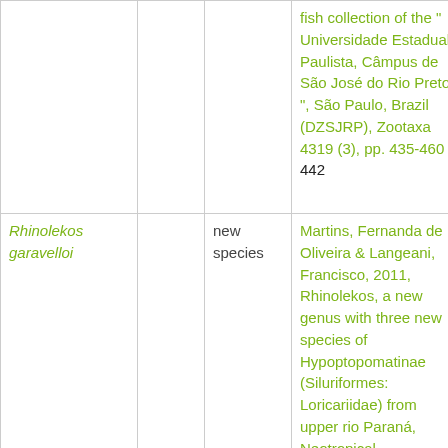| Species |  | Status | Reference | Pages |
| --- | --- | --- | --- | --- |
|  |  |  | fish collection of the " Universidade Estadual Paulista, Câmpus de São José do Rio Preto ", São Paulo, Brazil (DZSJRP), Zootaxa 4319 (3), pp. 435-460 : 442 |  |
| Rhinolekos garavelloi |  | new species | Martins, Fernanda de Oliveira & Langeani, Francisco, 2011, Rhinolekos, a new genus with three new species of Hypoptopomatinae (Siluriformes: Loricariidae) from upper rio Paraná, Neotropical Ichthyology 9 (1), pp. 65-78 : 71-74 | 71-74 |